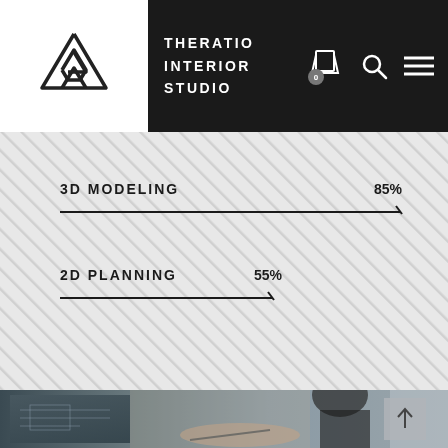THERATIO INTERIOR STUDIO
[Figure (infographic): Interior studio skills bar chart showing 3D MODELING at 85% and 2D PLANNING at 55% on a diagonal stripe background]
[Figure (photo): Person in dark clothes examining architectural blueprints on a monitor, with a brick wall background and window light]